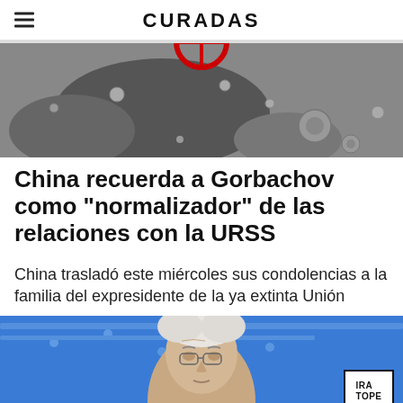CURADAS
[Figure (photo): Black and white image of the moon surface with craters, and a partial red circular logo/symbol visible at the top center]
China recuerda a Gorbachov como "normalizador" de las relaciones con la URSS
China trasladó este miércoles sus condolencias a la familia del expresidente de la ya extinta Unión
[Figure (photo): Photo of an elderly man with white/grey hair, appearing to be at a podium or press conference with a blue background featuring EU-style dots/stars pattern. A white badge in the bottom right reads 'IRA TOPE']